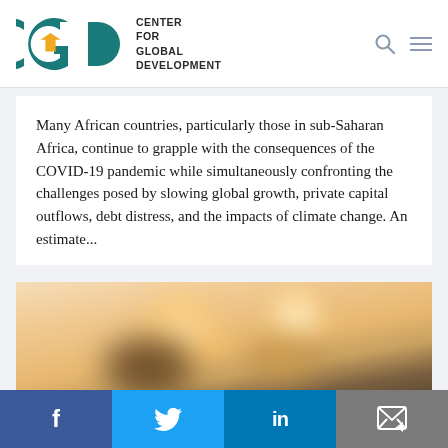Center for Global Development
Many African countries, particularly those in sub-Saharan Africa, continue to grapple with the consequences of the COVID-19 pandemic while simultaneously confronting the challenges posed by slowing global growth, private capital outflows, debt distress, and the impacts of climate change. An estimate...
[Figure (photo): Blurred photograph showing coins or currency objects with warm orange and brown tones, likely representing finance or development funding in Africa.]
Social share bar: Facebook, Twitter, LinkedIn, Email